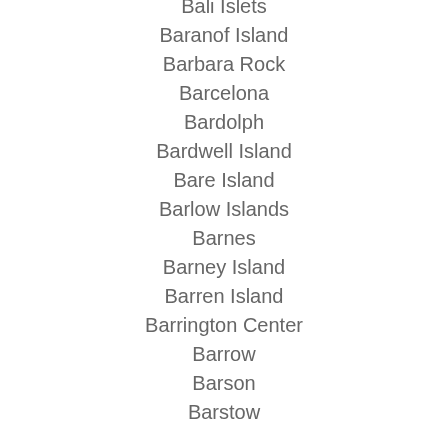Bali Islets
Baranof Island
Barbara Rock
Barcelona
Bardolph
Bardwell Island
Bare Island
Barlow Islands
Barnes
Barney Island
Barren Island
Barrington Center
Barrow
Barson
Barstow